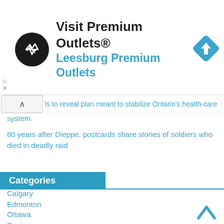[Figure (logo): Visit Premium Outlets advertisement banner with circular black logo, company name 'Visit Premium Outlets®' in bold black, subtitle 'Leesburg Premium Outlets' in blue, and a blue navigation diamond icon on the right.]
is to reveal plan meant to stabilize Ontario's health-care system
80 years after Dieppe, postcards share stories of soldiers who died in deadly raid
Categories
Calgary
Edmonton
Ottawa
Regina